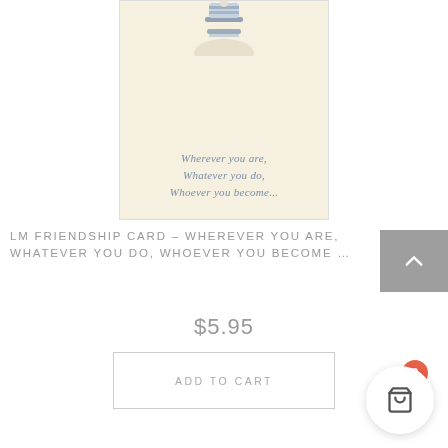[Figure (photo): A greeting card with a cream/beige background showing a partial illustration of a figure at the top and handwritten-style blue text reading: 'Wherever you are, Whatever you do, Whoever you become...']
LM FRIENDSHIP CARD – WHEREVER YOU ARE, WHATEVER YOU DO, WHOEVER YOU BECOME …
$5.95
ADD TO CART